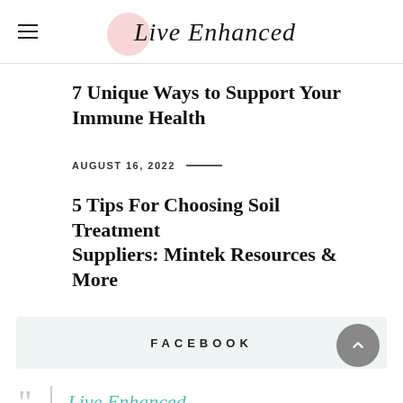Live Enhanced
7 Unique Ways to Support Your Immune Health
AUGUST 16, 2022
5 Tips For Choosing Soil Treatment Suppliers: Mintek Resources & More
FACEBOOK
Live Enhanced